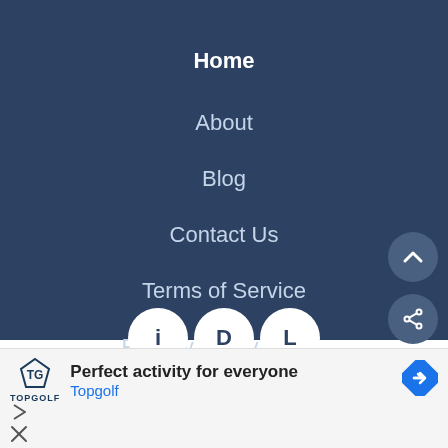Home
About
Blog
Contact Us
Terms of Service
Privacy Policy
[Figure (infographic): Social media icon circles partially visible at bottom of navigation area]
[Figure (other): Scroll-up button (chevron up icon) in a dark blue circle]
[Figure (other): Share button (share icon) in a dark blue circle]
Perfect activity for everyone
Topgolf